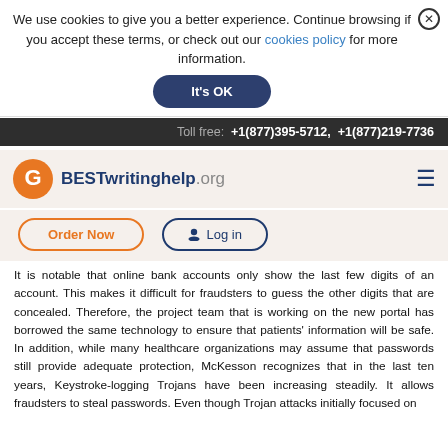We use cookies to give you a better experience. Continue browsing if you accept these terms, or check out our cookies policy for more information.
It's OK
Toll free: +1(877)395-5712, +1(877)219-7736
[Figure (logo): BESTwritinghelp.org logo with orange circular G icon]
Order Now
Log in
It is notable that online bank accounts only show the last few digits of an account. This makes it difficult for fraudsters to guess the other digits that are concealed. Therefore, the project team that is working on the new portal has borrowed the same technology to ensure that patients' information will be safe. In addition, while many healthcare organizations may assume that passwords still provide adequate protection, McKesson recognizes that in the last ten years, Keystroke-logging Trojans have been increasing steadily. It allows fraudsters to steal passwords. Even though Trojan attacks initially focused on